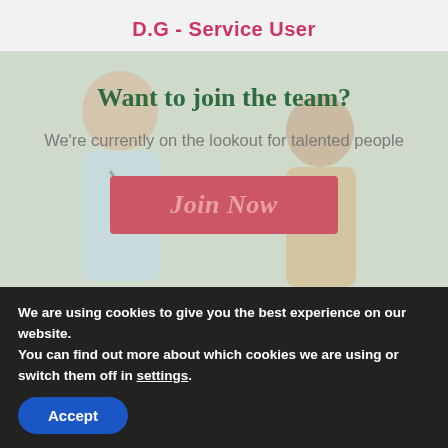D.G - Service User
[Figure (photo): Background photo of a healthcare worker (nurse with stethoscope) talking with an elderly patient, with a recruitment banner overlay showing 'Want to join the team?', subtitle 'We're currently on the lookout for talented people', and a pink 'Join Now' button.]
Want to join the team?
We're currently on the lookout for talented people
Join Now
We are using cookies to give you the best experience on our website.
You can find out more about which cookies we are using or switch them off in settings.
Accept